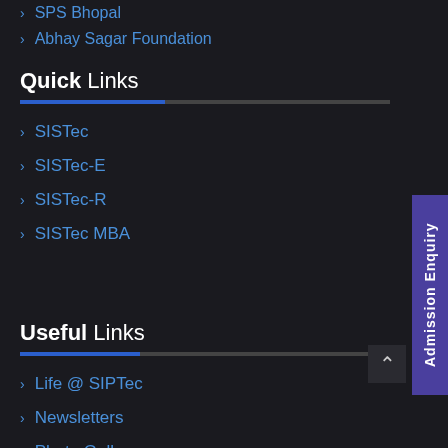SPS Bhopal
Abhay Sagar Foundation
Quick Links
SISTec
SISTec-E
SISTec-R
SISTec MBA
Useful Links
Life @ SIPTec
Newsletters
Photo Gallery
Sagar Ratna